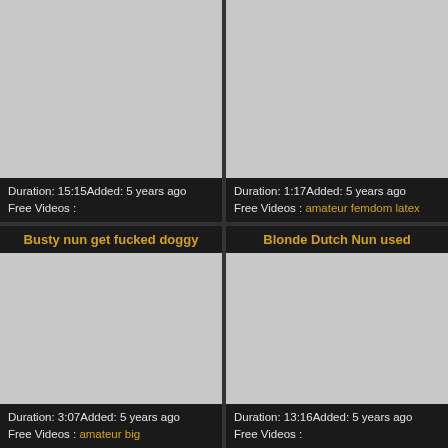[Figure (photo): Gray thumbnail placeholder image, top-left video]
Duration: 15:15Added: 5 years ago
Free Videos :
[Figure (photo): Gray thumbnail placeholder image, top-right video]
Duration: 1:17Added: 5 years ago
Free Videos : amateur femdom latex
Busty nun get fucked doggy
[Figure (photo): Gray thumbnail placeholder image, bottom-left video]
Duration: 3:07Added: 5 years ago
Free Videos : amateur big
Blonde Dutch Nun used
[Figure (photo): Gray thumbnail placeholder image, bottom-right video]
Duration: 13:16Added: 5 years ago
Free Videos :